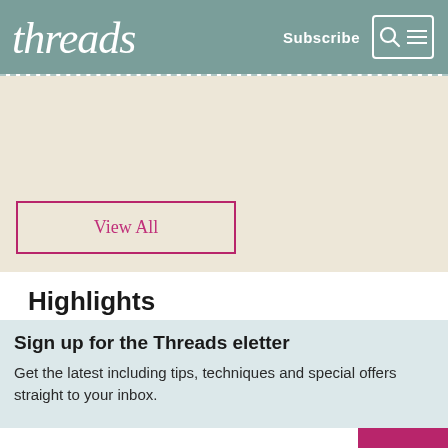threads | Subscribe
[Figure (screenshot): Cream/beige patterned background area with a 'View All' button outlined in magenta/pink]
Highlights
Sign up for the Threads eletter
Get the latest including tips, techniques and special offers straight to your inbox.